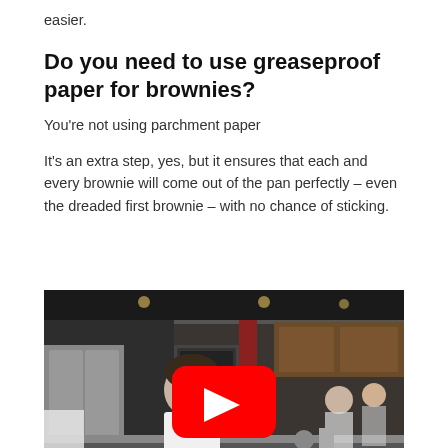easier.
Do you need to use greaseproof paper for brownies?
You're not using parchment paper
It's an extra step, yes, but it ensures that each and every brownie will come out of the pan perfectly – even the dreaded first brownie – with no chance of sticking.
[Figure (screenshot): Video thumbnail showing a chef in a white coat standing in a professional kitchen (America's Test Kitchen), with a red YouTube play button overlay in the center.]